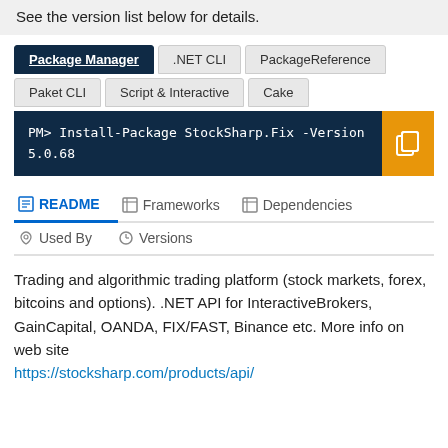See the version list below for details.
Package Manager | .NET CLI | PackageReference | Paket CLI | Script & Interactive | Cake
PM> Install-Package StockSharp.Fix -Version 5.0.68
README | Frameworks | Dependencies | Used By | Versions
Trading and algorithmic trading platform (stock markets, forex, bitcoins and options). .NET API for InteractiveBrokers, GainCapital, OANDA, FIX/FAST, Binance etc. More info on web site https://stocksharp.com/products/api/